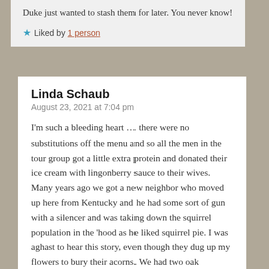Duke just wanted to stash them for later. You never know!
★ Liked by 1 person
Linda Schaub
August 23, 2021 at 7:04 pm
I'm such a bleeding heart … there were no substitutions off the menu and so all the men in the tour group got a little extra protein and donated their ice cream with lingonberry sauce to their wives. Many years ago we got a new neighbor who moved up here from Kentucky and he had some sort of gun with a silencer and was taking down the squirrel population in the 'hood as he liked squirrel pie. I was aghast to hear this story, even though they dug up my flowers to bury their acorns. We had two oak